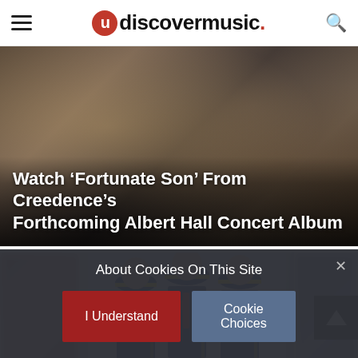uDiscoverMusic
[Figure (photo): Photo of musicians/band members in a recording studio, appearing to be Creedence Clearwater Revival]
Watch ‘Fortunate Son’ From Creedence’s Forthcoming Albert Hall Concert Album
[Figure (photo): Album cover or promotional image showing three young men dressed in matching navy and red military-style uniforms with caps, with text 'WELCOME TO WHEREVER YOU ARE' visible at the bottom]
About Cookies On This Site
I Understand
Cookie Choices